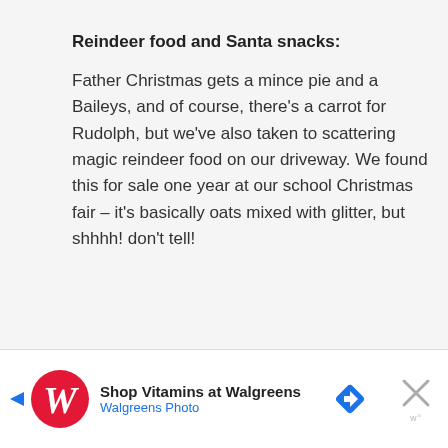Reindeer food and Santa snacks:
Father Christmas gets a mince pie and a Baileys, and of course, there’s a carrot for Rudolph, but we’ve also taken to scattering magic reindeer food on our driveway. We found this for sale one year at our school Christmas fair – it’s basically oats mixed with glitter, but shhhh! don’t tell!
[Figure (other): Walgreens advertisement banner: Shop Vitamins at Walgreens, Walgreens Photo, with Walgreens logo, navigation arrow icon, and close button]